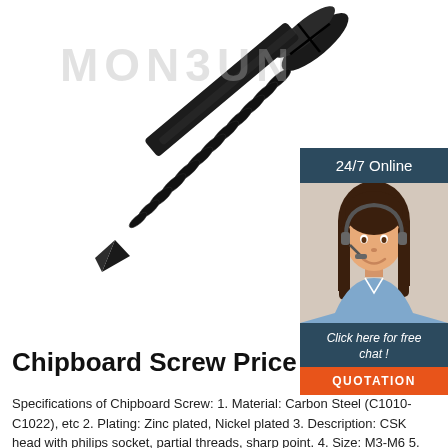[Figure (photo): Black self-drilling chipboard screw, diagonal orientation, with pan head and sharp tip, on white background. MONSUN watermark visible.]
[Figure (photo): Customer service woman with headset, smiling. Part of a 24/7 Online chat widget panel on the right side with dark blue header, chat button text, and orange QUOTATION button.]
Chipboard Screw Price
Specifications of Chipboard Screw: 1. Material: Carbon Steel (C1010-C1022), etc 2. Plating: Zinc plated, Nickel plated 3. Description: CSK head with philips socket, partial threads, sharp point. 4. Size: M3-M6 5. Length: can be up to 300 mm 6. Usage: Chipboard Screw is usually used to furniture, wood